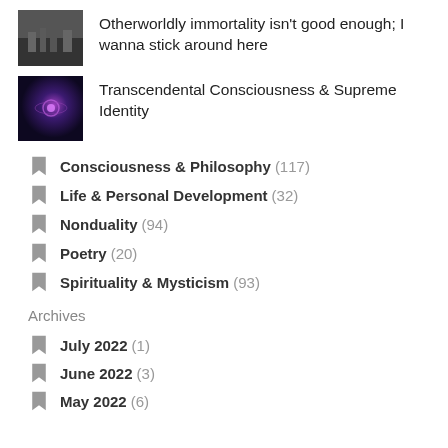[Figure (photo): Dark cityscape thumbnail image]
Otherworldly immortality isn't good enough; I wanna stick around here
[Figure (photo): Cosmic swirl / galaxy purple thumbnail image]
Transcendental Consciousness & Supreme Identity
Consciousness & Philosophy (117)
Life & Personal Development (32)
Nonduality (94)
Poetry (20)
Spirituality & Mysticism (93)
Archives
July 2022 (1)
June 2022 (3)
May 2022 (6)